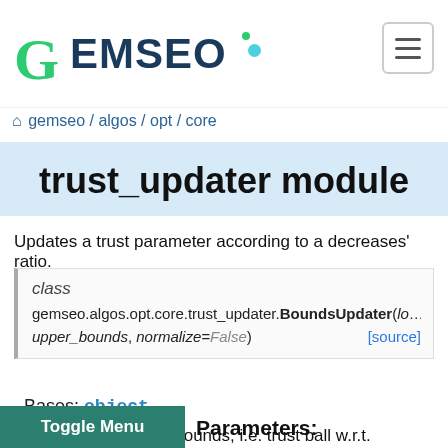GEMSEO
gemseo / algos / opt / core
trust_updater module
Updates a trust parameter according to a decreases' ratio.
class gemseo.algos.opt.core.trust_updater.BoundsUpdater(lower_bounds, upper_bounds, normalize=False) [source]
Bases: object
Updater of the trust bounds, i.e. trust ball w.r.t. the infinity norm.
Parameters: bounds (numpy.ndarray) – The reference